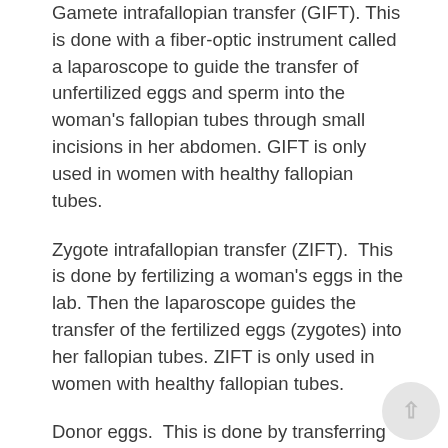Gamete intrafallopian transfer (GIFT). This is done with a fiber-optic instrument called a laparoscope to guide the transfer of unfertilized eggs and sperm into the woman's fallopian tubes through small incisions in her abdomen. GIFT is only used in women with healthy fallopian tubes.
Zygote intrafallopian transfer (ZIFT). This is done by fertilizing a woman's eggs in the lab. Then the laparoscope guides the transfer of the fertilized eggs (zygotes) into her fallopian tubes. ZIFT is only used in women with healthy fallopian tubes.
Donor eggs. This is done by transferring an embryo from a donor to an infertile woman. The donor gives up all parental rights to any resulting children. ART using donor eggs is more common in older women. The chance of a fertilized egg implanting is related to the age of the woman who produced the egg. Egg donors are typically in their 20s or early 30s.